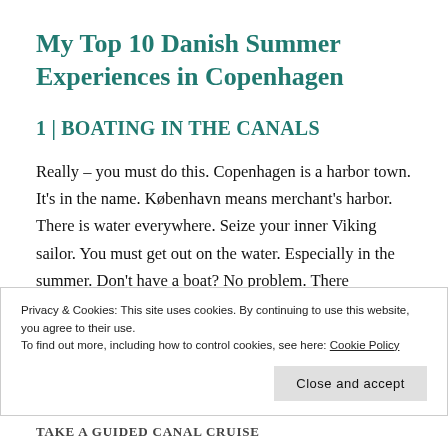My Top 10 Danish Summer Experiences in Copenhagen
1 | BOATING IN THE CANALS
Really – you must do this. Copenhagen is a harbor town. It's in the name. København means merchant's harbor. There is water everywhere. Seize your inner Viking sailor. You must get out on the water. Especially in the summer. Don't have a boat? No problem. There
Privacy & Cookies: This site uses cookies. By continuing to use this website, you agree to their use.
To find out more, including how to control cookies, see here: Cookie Policy
Close and accept
TAKE A GUIDED CANAL CRUISE